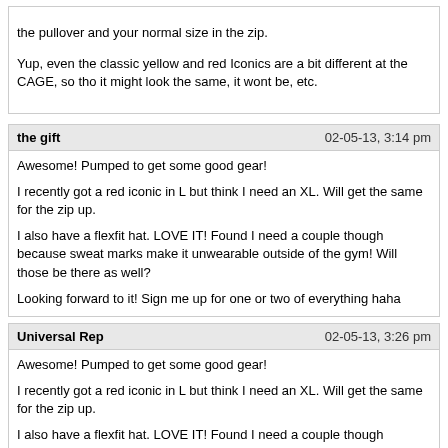the pullover and your normal size in the zip.

Yup, even the classic yellow and red Iconics are a bit different at the CAGE, so tho it might look the same, it wont be, etc.
the gift
02-05-13, 3:14 pm

Awesome! Pumped to get some good gear!

I recently got a red iconic in L but think I need an XL. Will get the same for the zip up.

I also have a flexfit hat. LOVE IT! Found I need a couple though because sweat marks make it unwearable outside of the gym! Will those be there as well?

Looking forward to it! Sign me up for one or two of everything haha
Universal Rep
02-05-13, 3:26 pm

Awesome! Pumped to get some good gear!

I recently got a red iconic in L but think I need an XL. Will get the same for the zip up.

I also have a flexfit hat. LOVE IT! Found I need a couple though because sweat marks make it unwearable outside of the gym! Will those be there as well?

Looking forward to it! Sign me up for one or two of everything haha

Sum fellas measure their progress in terms of these Animal shirts... For example, "Last CAGE, I wuz L, this CAGE Ima wear XL", etc. Nice work brotha, movin up in size. Yup, there will be caps, limited edition of course. Here's how it went down... http://forum.animalpak.com/showthread.php?40140-Yellow-or-Black-Flexfit-Cap...